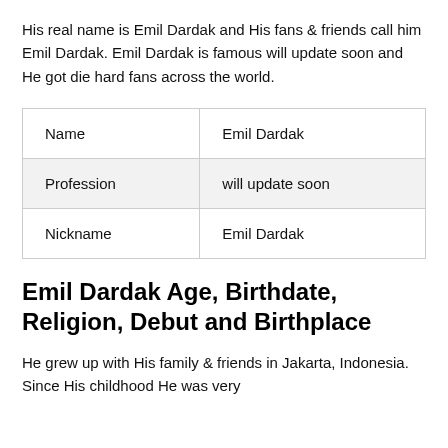His real name is Emil Dardak and His fans & friends call him Emil Dardak. Emil Dardak is famous will update soon and He got die hard fans across the world.
| Name | Emil Dardak |
| Profession | will update soon |
| Nickname | Emil Dardak |
Emil Dardak Age, Birthdate, Religion, Debut and Birthplace
He grew up with His family & friends in Jakarta, Indonesia. Since His childhood He was very